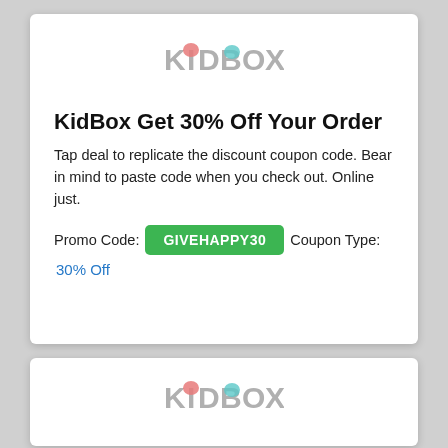[Figure (logo): KIDBOX colorful logo]
KidBox Get 30% Off Your Order
Tap deal to replicate the discount coupon code. Bear in mind to paste code when you check out. Online just.
Promo Code: GIVEHAPPY30   Coupon Type:
30% Off
[Figure (logo): KIDBOX colorful logo (second card)]